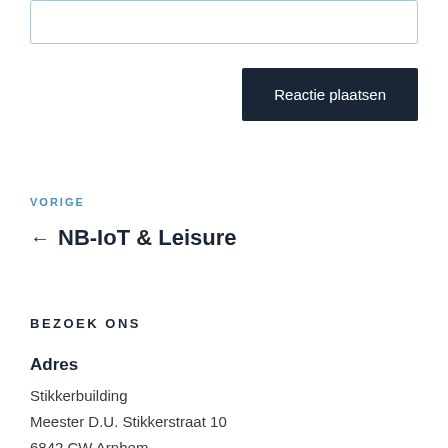[Figure (other): Empty text input box with light blue border]
Reactie plaatsen
VORIGE
← NB-IoT & Leisure
BEZOEK ONS
Adres
Stikkerbuilding
Meester D.U. Stikkerstraat 10
6842 CW Arnhem